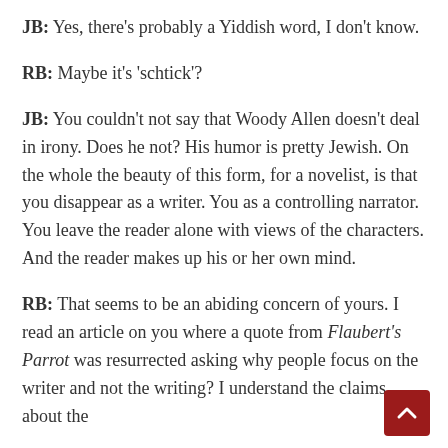JB: Yes, there's probably a Yiddish word, I don't know.
RB: Maybe it's 'schtick'?
JB: You couldn't not say that Woody Allen doesn't deal in irony. Does he not? His humor is pretty Jewish. On the whole the beauty of this form, for a novelist, is that you disappear as a writer. You as a controlling narrator. You leave the reader alone with views of the characters. And the reader makes up his or her own mind.
RB: That seems to be an abiding concern of yours. I read an article on you where a quote from Flaubert's Parrot was resurrected asking why people focus on the writer and not the writing? I understand the claims about the…